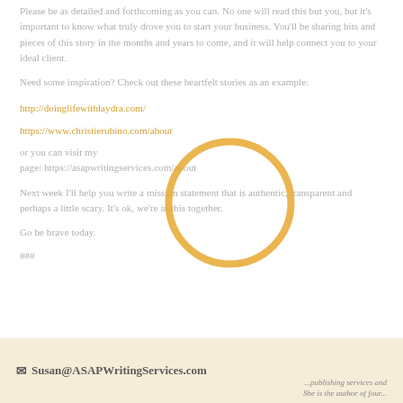Please be as detailed and forthcoming as you can. No one will read this but you, but it's important to know what truly drove you to start your business. You'll be sharing bits and pieces of this story in the months and years to come, and it will help connect you to your ideal client.
Need some inspiration? Check out these heartfelt stories as an example:
http://doinglifewithlaydra.com/
https://www.christierubino.com/about
or you can visit my page: https://asapwritingservices.com/about
Next week I'll help you write a mission statement that is authentic, transparent and perhaps a little scary. It's ok, we're in this together.
Go be brave today.
###
[Figure (illustration): Orange circle outline overlay on text]
✉ Susan@ASAPWritingServices.com  ...publishing services and She is the author of four...